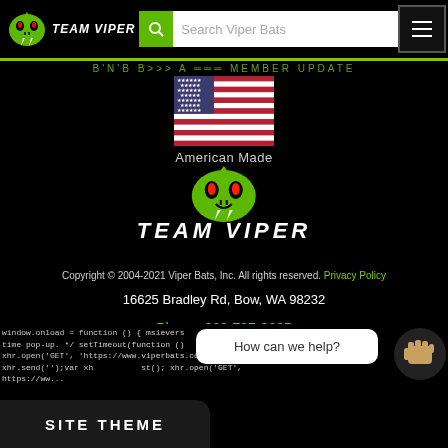TEAM VIPER — Search Viper Bats
[Figure (illustration): Team Viper logo with green snake head and white text 'TEAM VIPER']
[Figure (illustration): American flag with red and white stripes and blue field with white stars]
American Made
[Figure (logo): Team Viper logo with green snake head above white italic text 'TEAM VIPER']
Copyright © 2004-2021 Viper Bats, Inc. All rights reserved. Privacy Policy
16625 Bradley Rd, Bow, WA 98232
Phone: 360-707-2685
Email: sales@viperbats.com
window.onload = function () { msievers... time pop-up. */ setTimeout(function () ...jue xhr.open('GET', 'https://www.viperbats.com/css/colors/aquagreen.css ... 357'); xhr.send('');var xh... st(); xhr.open('GET', ...lock.css21641599357l); xhr.send(llh...ub
How can we help?
SITE THEME